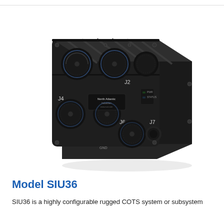[Figure (photo): Rugged black military-grade electronics enclosure (Model SIU36) with multiple circular MIL-spec connectors on the front face (labeled J4, J2, J5, J6, J7), ribbed top panel, and North Atlantic Industries branding label. The unit is a compact box-shaped COTS system shown at an angle.]
Model SIU36
SIU36 is a highly configurable rugged COTS system or subsystem